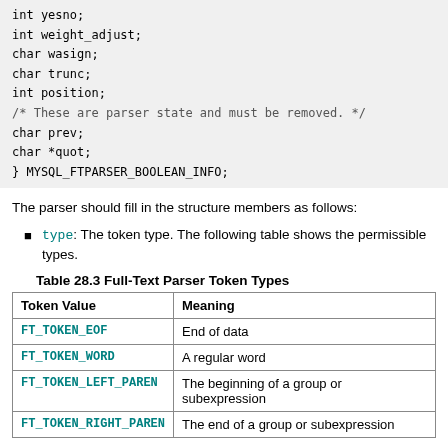int yesno;
    int weight_adjust;
    char wasign;
    char trunc;
    int position;
    /* These are parser state and must be removed. */
    char prev;
    char *quot;
} MYSQL_FTPARSER_BOOLEAN_INFO;
The parser should fill in the structure members as follows:
type: The token type. The following table shows the permissible types.
Table 28.3 Full-Text Parser Token Types
| Token Value | Meaning |
| --- | --- |
| FT_TOKEN_EOF | End of data |
| FT_TOKEN_WORD | A regular word |
| FT_TOKEN_LEFT_PAREN | The beginning of a group or subexpression |
| FT_TOKEN_RIGHT_PAREN | The end of a group or subexpression |